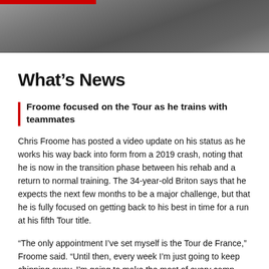[Figure (photo): Photo of cyclists/riders training together, partially visible at top of page with a red bar accent at top-left]
What's News
Froome focused on the Tour as he trains with teammates
Chris Froome has posted a video update on his status as he works his way back into form from a 2019 crash, noting that he is now in the transition phase between his rehab and a return to normal training. The 34-year-old Briton says that he expects the next few months to be a major challenge, but that he is fully focused on getting back to his best in time for a run at his fifth Tour title.
“The only appointment I’ve set myself is the Tour de France,” Froome said. “Until then, every week I’m just going to keep chipping away. I’m going to make the most of every camp, every race building up to July.”